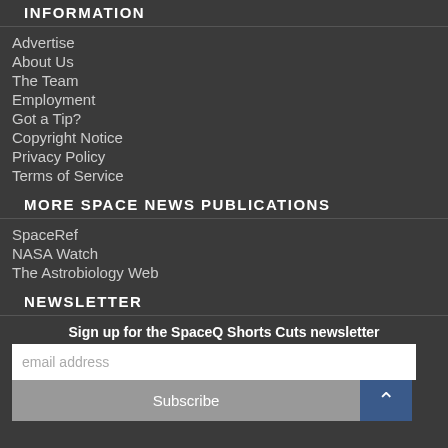INFORMATION
Advertise
About Us
The Team
Employment
Got a Tip?
Copyright Notice
Privacy Policy
Terms of Service
MORE SPACE NEWS PUBLICATIONS
SpaceRef
NASA Watch
The Astrobiology Web
NEWSLETTER
Sign up for the SpaceQ Shorts Cuts newsletter
email address
Subscribe